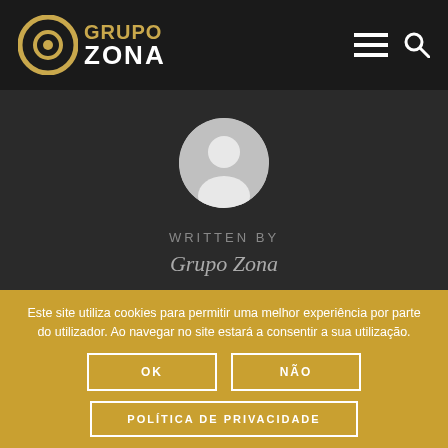[Figure (logo): Grupo Zona logo with circular icon and bold text GRUPO ZONA]
[Figure (illustration): Default user avatar - grey circle with white person silhouette]
WRITTEN BY
Grupo Zona
Este site utiliza cookies para permitir uma melhor experiência por parte do utilizador. Ao navegar no site estará a consentir a sua utilização.
OK
NÃO
POLÍTICA DE PRIVACIDADE